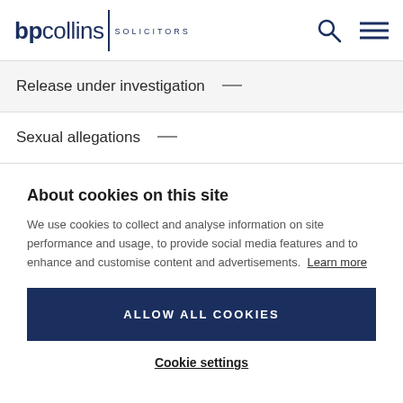bp collins SOLICITORS
Release under investigation —
Sexual allegations —
Theft
About cookies on this site
We use cookies to collect and analyse information on site performance and usage, to provide social media features and to enhance and customise content and advertisements. Learn more
ALLOW ALL COOKIES
Cookie settings